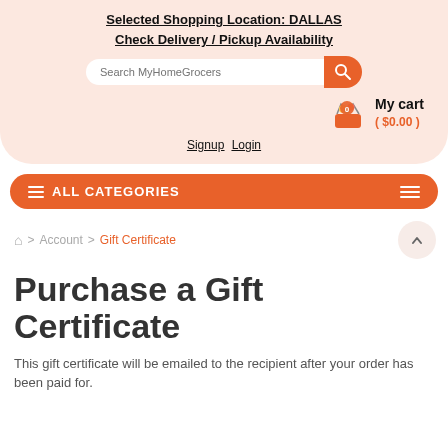Selected Shopping Location: DALLAS
Check Delivery / Pickup Availability
[Figure (screenshot): Search bar with orange search button reading 'Search MyHomeGrocers']
[Figure (illustration): Shopping cart icon with orange badge showing 0, labeled 'My cart ($0.00)']
Signup  Login
ALL CATEGORIES
Home > Account > Gift Certificate
Purchase a Gift Certificate
This gift certificate will be emailed to the recipient after your order has been paid for.